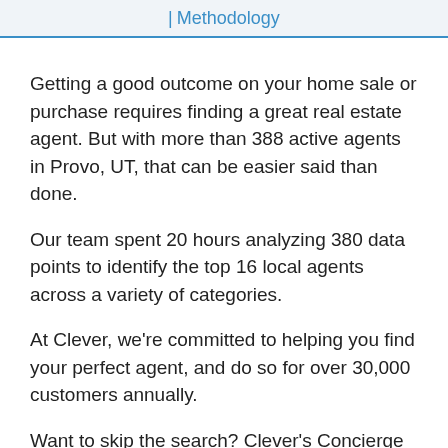| Methodology
Getting a good outcome on your home sale or purchase requires finding a great real estate agent. But with more than 388 active agents in Provo, UT, that can be easier said than done.
Our team spent 20 hours analyzing 380 data points to identify the top 16 local agents across a variety of categories.
At Clever, we're committed to helping you find your perfect agent, and do so for over 30,000 customers annually.
Want to skip the search? Clever's Concierge...